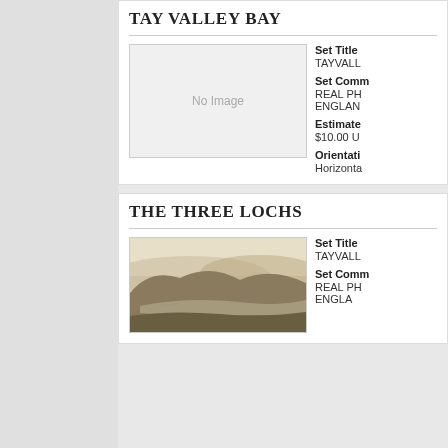TAY VALLEY BAY
[Figure (photo): No Image placeholder box]
Set Title
TAYVALL
Set Comm
REAL PH ENGLAN
Estimate
$10.00 U
Orientati
Horizonta
THE THREE LOCHS
[Figure (photo): Sepia photograph of a lake/loch landscape with hills in the background]
Set Title
TAYVALL
Set Comm
REAL PH ENGLA